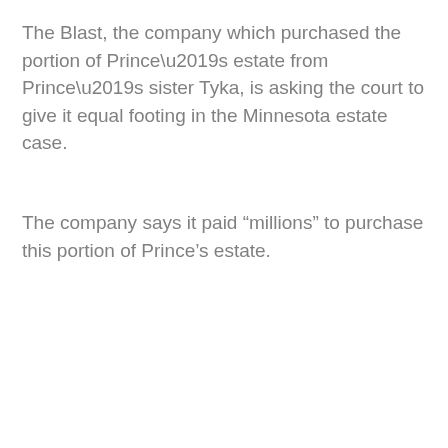The Blast, the company which purchased the portion of Prince’s estate from Prince’s sister Tyka, is asking the court to give it equal footing in the Minnesota estate case.
The company says it paid “millions” to purchase this portion of Prince’s estate.